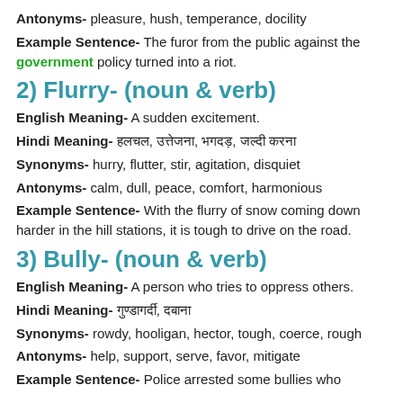Antonyms- pleasure, hush, temperance, docility
Example Sentence- The furor from the public against the government policy turned into a riot.
2) Flurry- (noun & verb)
English Meaning- A sudden excitement.
Hindi Meaning- हलचल, उत्तेजना, भगदड़, जल्दी करना
Synonyms- hurry, flutter, stir, agitation, disquiet
Antonyms- calm, dull, peace, comfort, harmonious
Example Sentence- With the flurry of snow coming down harder in the hill stations, it is tough to drive on the road.
3) Bully- (noun & verb)
English Meaning- A person who tries to oppress others.
Hindi Meaning- गुण्डागर्दी, दबाना
Synonyms- rowdy, hooligan, hector, tough, coerce, rough
Antonyms- help, support, serve, favor, mitigate
Example Sentence- Police arrested some bullies who